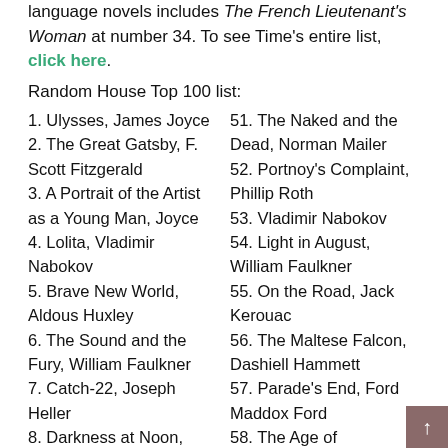language novels includes The French Lieutenant's Woman at number 34.  To see Time's entire list, click here.
Random House Top 100 list:
1. Ulysses, James Joyce
2. The Great Gatsby, F. Scott Fitzgerald
3. A Portrait of the Artist as a Young Man, Joyce
4. Lolita, Vladimir Nabokov
5. Brave New World, Aldous Huxley
6. The Sound and the Fury, William Faulkner
7. Catch-22, Joseph Heller
8. Darkness at Noon, Arthur Koestler
9. Sons and Lovers, D.H.
51. The Naked and the Dead, Norman Mailer
52. Portnoy's Complaint, Phillip Roth
53. Vladimir Nabokov
54. Light in August, William Faulkner
55. On the Road, Jack Kerouac
56. The Maltese Falcon, Dashiell Hammett
57. Parade's End, Ford Maddox Ford
58. The Age of Innocence,